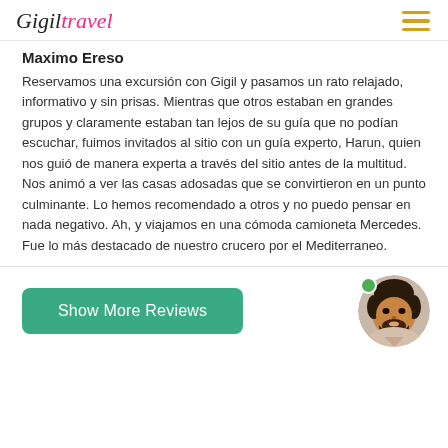Gigil Travel
Maximo Ereso
Reservamos una excursión con Gigil y pasamos un rato relajado, informativo y sin prisas. Mientras que otros estaban en grandes grupos y claramente estaban tan lejos de su guía que no podían escuchar, fuimos invitados al sitio con un guía experto, Harun, quien nos guió de manera experta a través del sitio antes de la multitud. Nos animó a ver las casas adosadas que se convirtieron en un punto culminante. Lo hemos recomendado a otros y no puedo pensar en nada negativo. Ah, y viajamos en una cómoda camioneta Mercedes. Fue lo más destacado de nuestro crucero por el Mediterraneo.
Show More Reviews
[Figure (photo): Circular avatar photo of a man with beard and dark hair, with a green online indicator dot in the top left of the circle.]